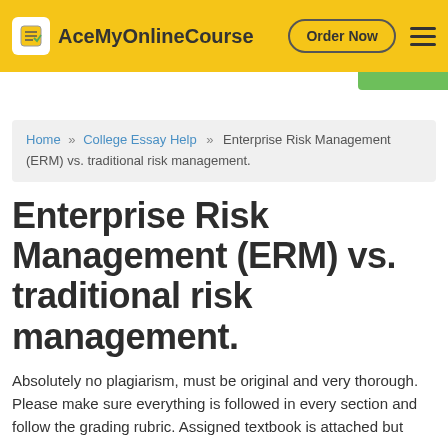AceMyOnlineCourse — Order Now
Home » College Essay Help » Enterprise Risk Management (ERM) vs. traditional risk management.
Enterprise Risk Management (ERM) vs. traditional risk management.
Absolutely no plagiarism, must be original and very thorough. Please make sure everything is followed in every section and follow the grading rubric. Assigned textbook is attached but